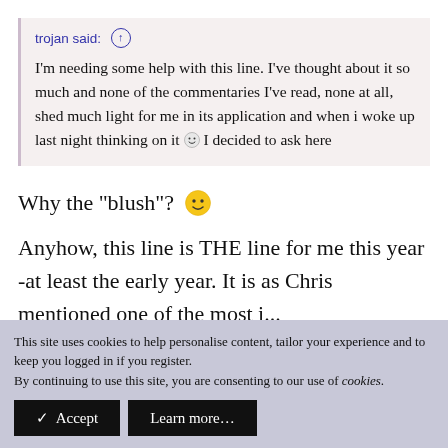trojan said: ↑
I'm needing some help with this line. I've thought about it so much and none of the commentaries I've read, none at all, shed much light for me in its application and when i woke up last night thinking on it 😊 I decided to ask here
Why the "blush"? 🙂
Anyhow, this line is THE line for me this year -at least the early year. It is as Chris mentioned one of the most i...
This site uses cookies to help personalise content, tailor your experience and to keep you logged in if you register.
By continuing to use this site, you are consenting to our use of cookies.
✓ Accept    Learn more…